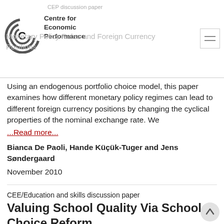CEP discussion paper
Centre for Economic Performance
Monetary Policy Rules and Foreign Currency Positions
Using an endogenous portfolio choice model, this paper examines how different monetary policy regimes can lead to different foreign currency positions by changing the cyclical properties of the nominal exchange rate. We
...Read more...
Bianca De Paoli, Hande Küçük-Tuger and Jens Søndergaard
November 2010
CEE/Education and skills discussion paper
Valuing School Quality Via School Choice Reform
Among policymakers, educators and economists there remains a strong, sometimes heated, debate on the extent